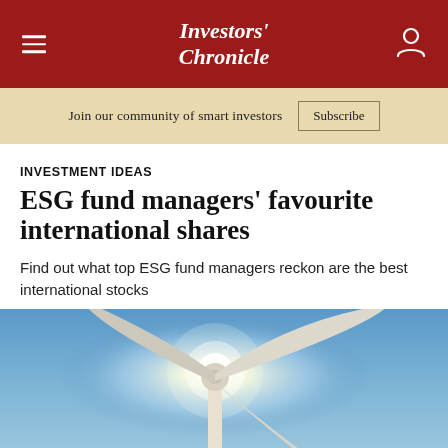Investors' Chronicle
Join our community of smart investors  Subscribe
INVESTMENT IDEAS
ESG fund managers' favourite international shares
Find out what top ESG fund managers reckon are the best international stocks
[Figure (photo): Wind turbine photographed from below against a bright blue sky with sun flare, showing the turbine hub and two visible blades]